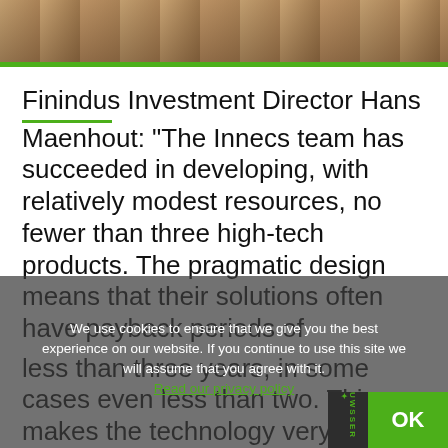[Figure (photo): Group of people standing together, partial view showing lower bodies and a poster/banner in the background]
Finindus Investment Director Hans Maenhout: “The Innecs team has succeeded in developing, with relatively modest resources, no fewer than three high-tech products. The pragmatic design means that their solutions often have payback periods of less than three years, in some cases even less than two. This makes the technology very attractive to larger industrial clients too. It not surprising, therefore, that international clients have also found their way to Inne…
We use cookies to ensure that we give you the best experience on our website. If you continue to use this site we will assume that you agree with it. Read our privacy policy